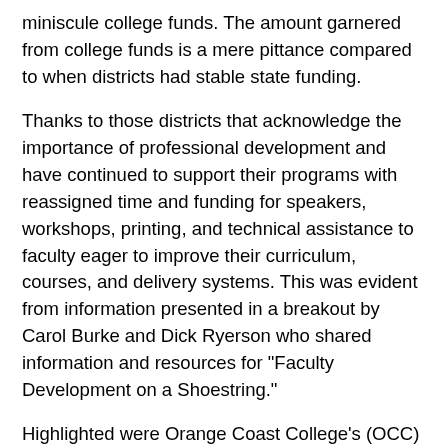miniscule college funds. The amount garnered from college funds is a mere pittance compared to when districts had stable state funding.
Thanks to those districts that acknowledge the importance of professional development and have continued to support their programs with reassigned time and funding for speakers, workshops, printing, and technical assistance to faculty eager to improve their curriculum, courses, and delivery systems. This was evident from information presented in a breakout by Carol Burke and Dick Ryerson who shared information and resources for "Faculty Development on a Shoestring."
Highlighted were Orange Coast College's (OCC) Academic Senate Professional Development Institute (PDI) Handbook and its 1999 Mentorship Program for new tenure track faculty. When OCC hired over sixty new faculty over a two-year period, the local senate developed a 40-page PDI Handbook to